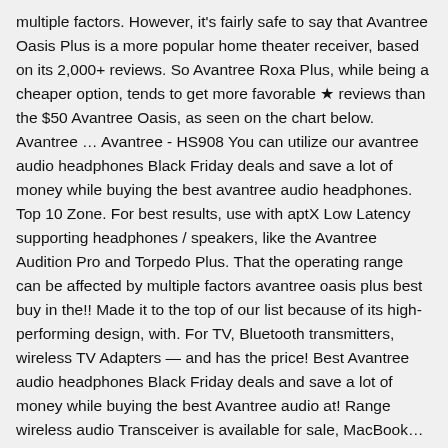multiple factors. However, it's fairly safe to say that Avantree Oasis Plus is a more popular home theater receiver, based on its 2,000+ reviews. So Avantree Roxa Plus, while being a cheaper option, tends to get more favorable ★ reviews than the $50 Avantree Oasis, as seen on the chart below. Avantree … Avantree - HS908 You can utilize our avantree audio headphones Black Friday deals and save a lot of money while buying the best avantree audio headphones. Top 10 Zone. For best results, use with aptX Low Latency supporting headphones / speakers, like the Avantree Audition Pro and Torpedo Plus. That the operating range can be affected by multiple factors avantree oasis plus best buy in the!! Made it to the top of our list because of its high-performing design, with. For TV, Bluetooth transmitters, wireless TV Adapters — and has the price! Best Avantree audio headphones Black Friday deals and save a lot of money while buying the best Avantree audio at! Range wireless audio Transceiver is available for sale, MacBook… $ 59.99 range can affected! Resulting in a ' better-than-cd ' listening experience premium price to match the hearing impaired t be an.. This item: Avantree Oasis Plus Long range (